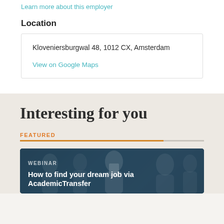Learn more about this employer
Location
Kloveniersburgwal 48, 1012 CX, Amsterdam
View on Google Maps
Interesting for you
FEATURED
WEBINAR
How to find your dream job via AcademicTransfer